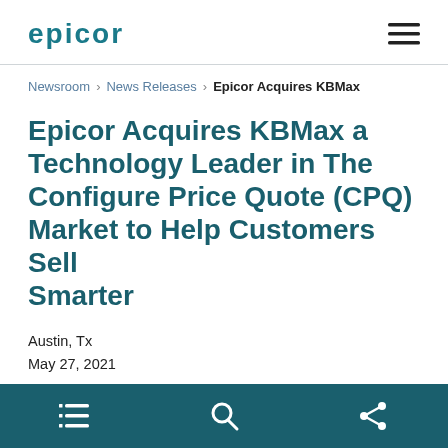EPICOR
Newsroom > News Releases > Epicor Acquires KBMax
Epicor Acquires KBMax a Technology Leader in The Configure Price Quote (CPQ) Market to Help Customers Sell Smarter
Austin, Tx
May 27, 2021
Epicor Acquires KBMax Technology leader in The...